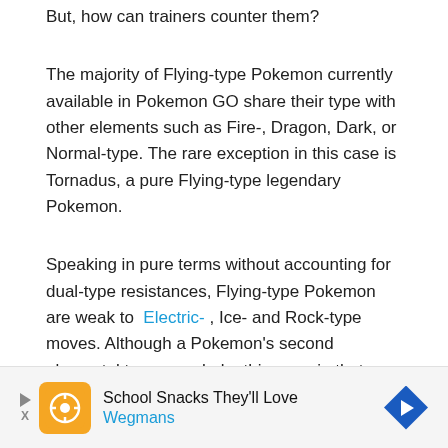But, how can trainers counter them?
The majority of Flying-type Pokemon currently available in Pokemon GO share their type with other elements such as Fire-, Dragon, Dark, or Normal-type. The rare exception in this case is Tornadus, a pure Flying-type legendary Pokemon.
Speaking in pure terms without accounting for dual-type resistances, Flying-type Pokemon are weak to Electric-, Ice- and Rock-type moves. Although a Pokemon’s second elemental type can shake things up in that regard, most Flying-types are susceptible to these three elements.
What’s Good Against Flying
[Figure (other): Advertisement banner: School Snacks They'll Love - Wegmans, with orange logo and blue diamond arrow icon]